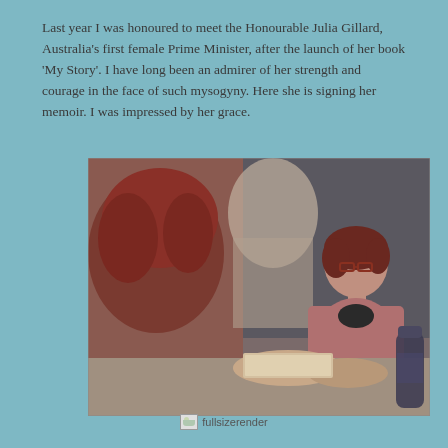Last year I was honoured to meet the Honourable Julia Gillard, Australia's first female Prime Minister, after the launch of her book 'My Story'. I have long been an admirer of her strength and courage in the face of such mysogyny. Here she is signing her memoir. I was impressed by her grace.
[Figure (photo): Photo of two women, one with red curly hair from behind and another woman with short red hair and glasses sitting at a table, appearing to sign a book. A water bottle is visible on the right side of the table.]
fullsizerender